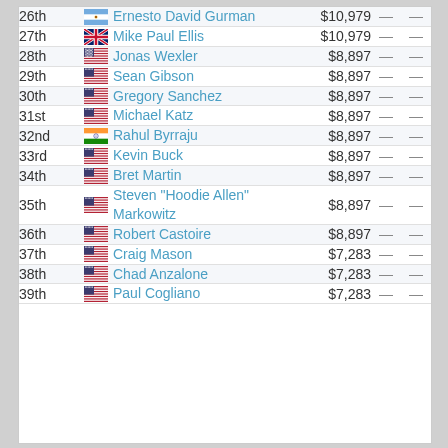| Place | Country | Name | Prize |  |  |
| --- | --- | --- | --- | --- | --- |
| 26th | Argentina | Ernesto David Gurman | $10,979 | — | — |
| 27th | UK | Mike Paul Ellis | $10,979 | — | — |
| 28th | USA | Jonas Wexler | $8,897 | — | — |
| 29th | USA | Sean Gibson | $8,897 | — | — |
| 30th | USA | Gregory Sanchez | $8,897 | — | — |
| 31st | USA | Michael Katz | $8,897 | — | — |
| 32nd | India | Rahul Byrraju | $8,897 | — | — |
| 33rd | USA | Kevin Buck | $8,897 | — | — |
| 34th | USA | Bret Martin | $8,897 | — | — |
| 35th | USA | Steven "Hoodie Allen" Markowitz | $8,897 | — | — |
| 36th | USA | Robert Castoire | $8,897 | — | — |
| 37th | USA | Craig Mason | $7,283 | — | — |
| 38th | USA | Chad Anzalone | $7,283 | — | — |
| 39th | USA | Paul Cogliano | $7,283 | — | — |